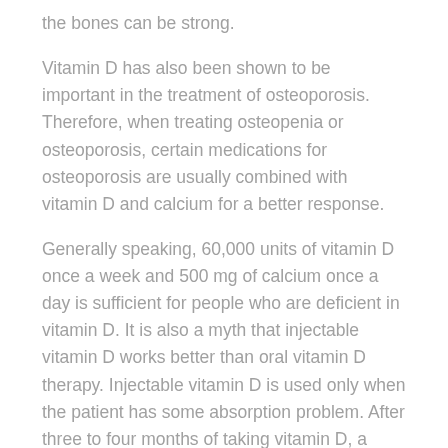the bones can be strong.
Vitamin D has also been shown to be important in the treatment of osteoporosis. Therefore, when treating osteopenia or osteoporosis, certain medications for osteoporosis are usually combined with vitamin D and calcium for a better response.
Generally speaking, 60,000 units of vitamin D once a week and 500 mg of calcium once a day is sufficient for people who are deficient in vitamin D. It is also a myth that injectable vitamin D works better than oral vitamin D therapy. Injectable vitamin D is used only when the patient has some absorption problem. After three to four months of taking vitamin D, a maintenance dose of 60,000 units of vitamin D once a month will suffice.